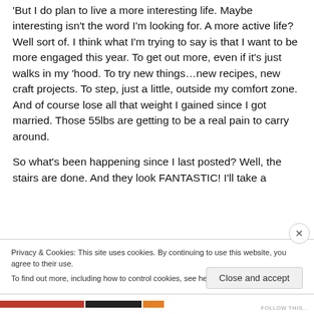'But I do plan to live a more interesting life.  Maybe interesting isn't the word I'm looking for.  A more active life?  Well sort of.  I think what I'm trying to say is that I want to be more engaged this year.  To get out more, even if it's just walks in my 'hood.  To try new things…new recipes, new craft projects. To step, just a little, outside my comfort zone.  And of course lose all that weight I gained since I got married.  Those 55lbs are getting to be a real pain to carry around.
So what's been happening since I last posted?  Well, the stairs are done.  And they look FANTASTIC!  I'll take a
Privacy & Cookies: This site uses cookies. By continuing to use this website, you agree to their use.
To find out more, including how to control cookies, see here: Cookie Policy